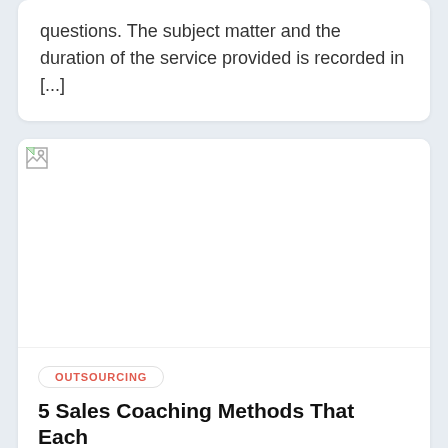questions. The subject matter and the duration of the service provided is recorded in [...]
[Figure (other): Broken/missing image placeholder for an article about Sales Coaching Methods]
OUTSOURCING
5 Sales Coaching Methods That Each